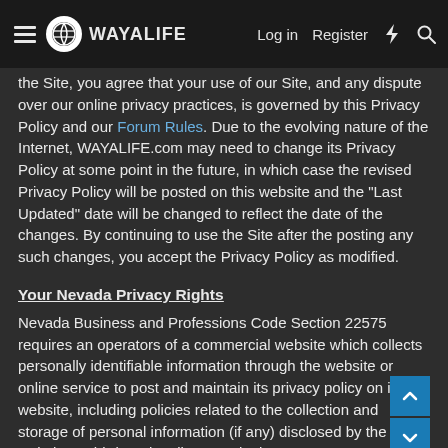WAYALIFE — Log in  Register
the Site, you agree that your use of our Site, and any dispute over our online privacy practices, is governed by this Privacy Policy and our Forum Rules. Due to the evolving nature of the Internet, WAYALIFE.com may need to change its Privacy Policy at some point in the future, in which case the revised Privacy Policy will be posted on this website and the "Last Updated" date will be changed to reflect the date of the changes. By continuing to use the Site after the posting any such changes, you accept the Privacy Policy as modified.
Your Nevada Privacy Rights
Nevada Business and Professions Code Section 22575 requires an operators of a commercial website which collects personally identifiable information through the website or online service to post and maintain its privacy policy on its website, including policies related to the collection and storage of personal information (if any) disclosed by the website to third parties direct marketing purposes.